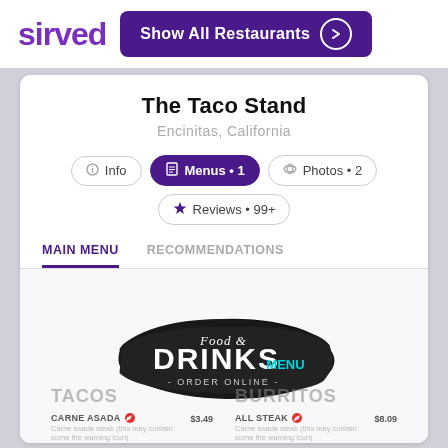sirved
Show All Restaurants
The Taco Stand
Encinitas, California
Info   Menus • 1   Photos • 2   Reviews • 99+
MAIN MENU
RECOMMENDATIONS
[Figure (logo): Food & Drinks Menu - Order Online logo on black brushstroke background]
TACOS
BURRITOS
CARNE ASADA
Carne asada steak (this may contain some fire warning icon) $3.49
ALL STEAK
Carne asada steak (this may contain some fire warning icon) $8.09